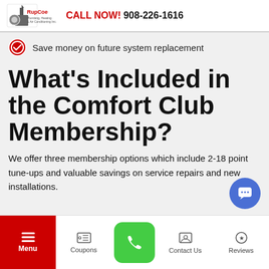RupCoe Plumbing, Heating & Air Conditioning Inc. CALL NOW! 908-226-1616
Save money on future system replacement
What's Included in the Comfort Club Membership?
We offer three membership options which include 2-18 point tune-ups and valuable savings on service repairs and new installations.
Menu | Coupons | (phone) | Contact Us | Reviews